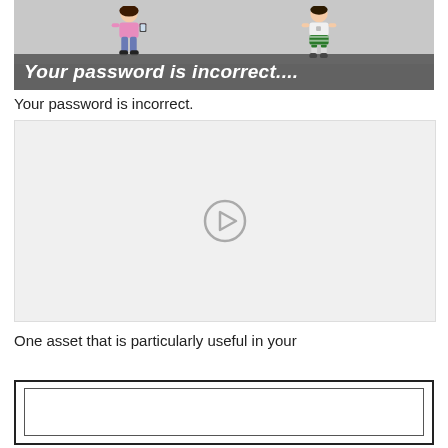[Figure (illustration): Cartoon image showing two characters (a girl in pink holding a tablet and a boy in soccer clothes) with a gray banner overlay reading 'Your password is incorrect....' in bold italic white text]
Your password is incorrect.
[Figure (screenshot): A light gray video player placeholder with a circular play button icon in the center]
One asset that is particularly useful in your
[Figure (screenshot): A bordered box (double border) at the bottom of the page, partially cut off]